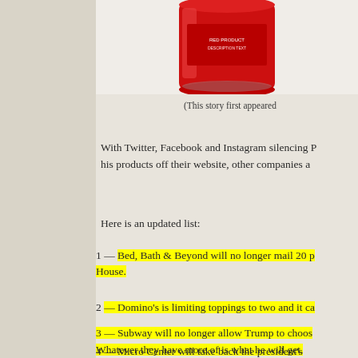[Figure (photo): Red cylindrical product container/can on white background]
(This story first appeared
With Twitter, Facebook and Instagram silencing P... his products off their website, other companies a...
Here is an updated list:
1 — Bed, Bath & Beyond will no longer mail 20 p... House.
2 — Domino's is limiting toppings to two and it ca...
3 — Subway will no longer allow Trump to choos... Whatever they have more of is what he will get.
4 — Micro Center will take back the president's...